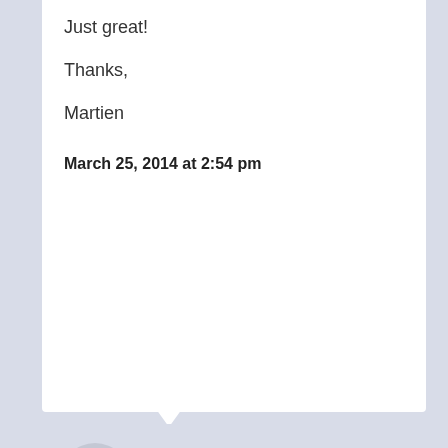Just great!

Thanks,

Martien
March 25, 2014 at 2:54 pm
Martien
Awesome! Learndash just gets better and better!
March 25, 2014 at 2:57 pm